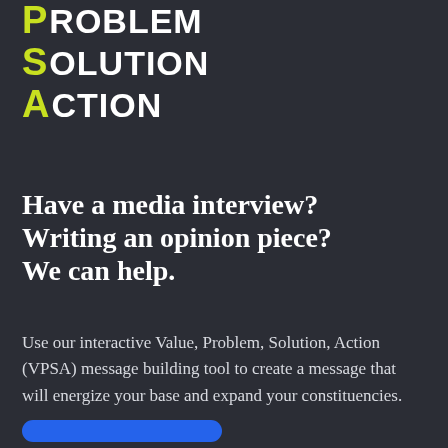P ROBLEM
S OLUTION
A CTION
Have a media interview? Writing an opinion piece? We can help.
Use our interactive Value, Problem, Solution, Action (VPSA) message building tool to create a message that will energize your base and expand your constituencies.